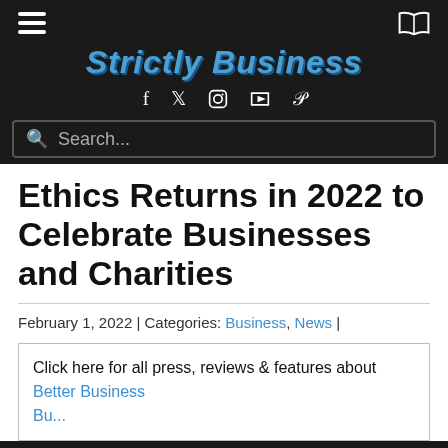Strictly Business
Ethics Returns in 2022 to Celebrate Businesses and Charities
February 1, 2022 | Categories: Business, News |
Click here for all press, reviews & features about Better Business Bureau®